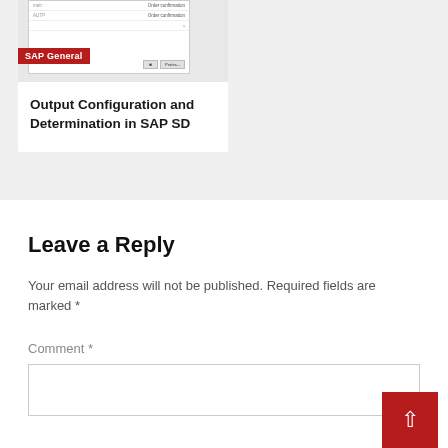[Figure (screenshot): SAP SD output configuration screenshot showing order confirmation rows in a table view]
SAP General
Output Configuration and Determination in SAP SD
Leave a Reply
Your email address will not be published. Required fields are marked *
Comment *